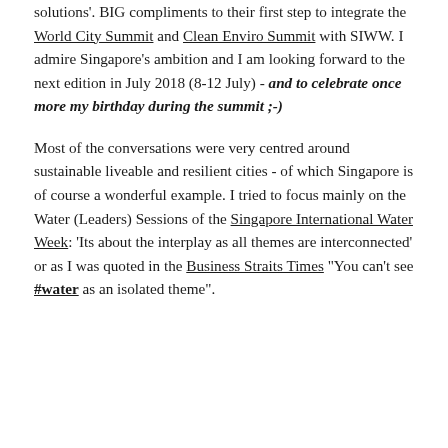solutions'. BIG compliments to their first step to integrate the World City Summit and Clean Enviro Summit with SIWW. I admire Singapore's ambition and I am looking forward to the next edition in July 2018 (8-12 July) - and to celebrate once more my birthday during the summit ;-)
Most of the conversations were very centred around sustainable liveable and resilient cities - of which Singapore is of course a wonderful example. I tried to focus mainly on the Water (Leaders) Sessions of the Singapore International Water Week: 'Its about the interplay as all themes are interconnected' or as I was quoted in the Business Straits Times "You can't see #water as an isolated theme".